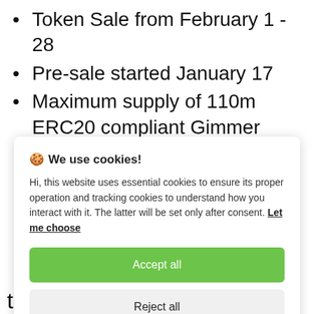Token Sale from February 1 - 28
Pre-sale started January 17
Maximum supply of 110m ERC20 compliant Gimmer tokens
🍪 We use cookies!

Hi, this website uses essential cookies to ensure its proper operation and tracking cookies to understand how you interact with it. The latter will be set only after consent. Let me choose

[Accept all] [Reject all]
trading world?